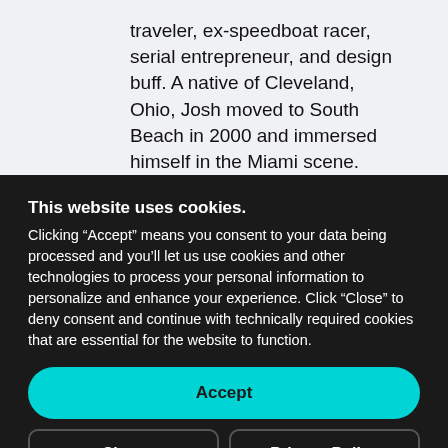traveler, ex-speedboat racer, serial entrepreneur, and design buff. A native of Cleveland, Ohio, Josh moved to South Beach in 2000 and immersed himself in the Miami scene. After a marketing career that segued
This website uses cookies. Clicking “Accept” means you consent to your data being processed and you’ll let us use cookies and other technologies to process your personal information to personalize and enhance your experience. Click “Close” to deny consent and continue with technically required cookies that are essential for the website to function.
Accept
Close
Privacy Policy